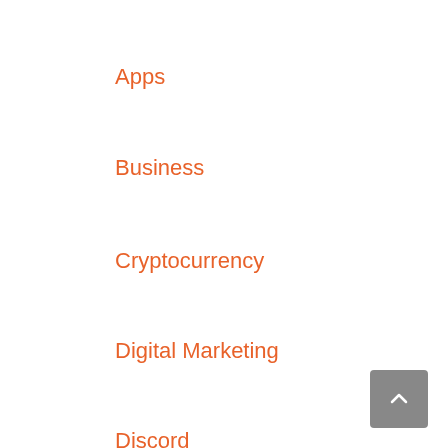Apps
Business
Cryptocurrency
Digital Marketing
Discord
Entertainment
Finance
Gaming
Health
Home & Garden